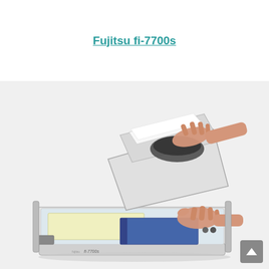Fujitsu fi-7700s
[Figure (photo): Photo of Fujitsu fi-7700s flatbed scanner with ADF. A person's hands are shown placing documents on the flatbed glass while the ADF unit is raised. The scanner is white/silver, sitting on a desk, with a yellow document and a blue book visible on the flatbed. The scanner logo 'fi-7700' is visible on the front.]